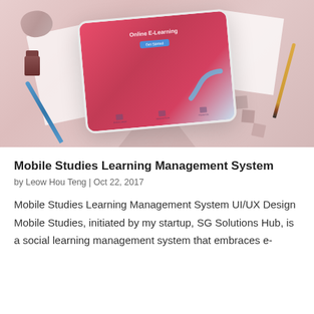[Figure (photo): Flat lay photo of a tablet showing an e-learning website mockup, surrounded by papers, pens, pencils, wooden blocks, and decorative objects on a pink/rose background.]
Mobile Studies Learning Management System
by Leow Hou Teng | Oct 22, 2017
Mobile Studies Learning Management System UI/UX Design Mobile Studies, initiated by my startup, SG Solutions Hub, is a social learning management system that embraces e-